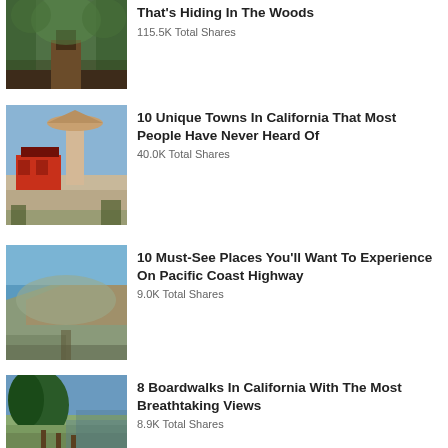[Figure (photo): Forest trail path with trees and greenery]
That's Hiding In The Woods
115.5K Total Shares
[Figure (photo): Dutch-style windmill and buildings in a California town]
10 Unique Towns In California That Most People Have Never Heard Of
40.0K Total Shares
[Figure (photo): Coastal cliffs and ocean view on Pacific Coast Highway]
10 Must-See Places You'll Want To Experience On Pacific Coast Highway
9.0K Total Shares
[Figure (photo): California coastal scene with cypress trees and boardwalk]
8 Boardwalks In California With The Most Breathtaking Views
8.9K Total Shares